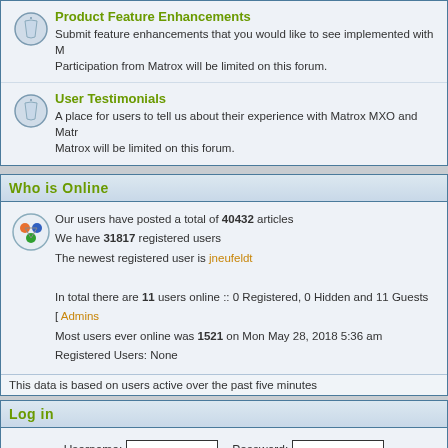Product Feature Enhancements
Submit feature enhancements that you would like to see implemented with M... Participation from Matrox will be limited on this forum.
User Testimonials
A place for users to tell us about their experience with Matrox MXO and Matr... Matrox will be limited on this forum.
Who is Online
Our users have posted a total of 40432 articles
We have 31817 registered users
The newest registered user is jneufeldt
In total there are 11 users online :: 0 Registered, 0 Hidden and 11 Guests  [ Admins
Most users ever online was 1521 on Mon May 28, 2018 5:36 am
Registered Users: None
This data is based on users active over the past five minutes
Log in
Username:  Password:
New posts    No
This board is protec... Powered by phpBB ©